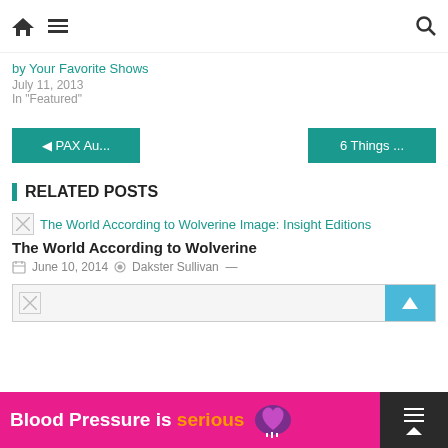Home navigation with menu and search icons
by Your Favorite Shows
July 11, 2013
In "Featured"
◄ PAX Au...
6 Things ...
RELATED POSTS
[Figure (other): Broken image placeholder for The World According to Wolverine Image: Insight Editions]
The World According to Wolverine
June 10, 2014   Dakster Sullivan  —
[Figure (other): Second related post broken image with teal scroll button]
[Figure (other): Ad banner: Blood Pressure is serious with purple heart logo]
[Figure (other): Dark block with scroll-up button on right side]